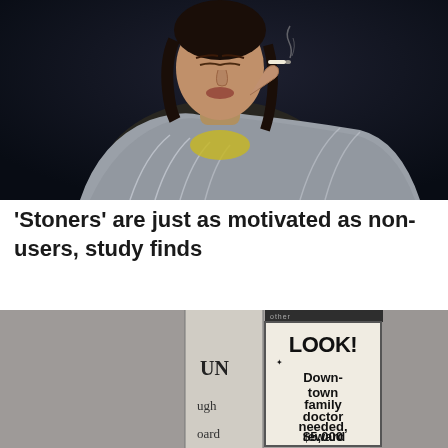[Figure (photo): Person wrapped in a gray striped blanket/scarf smoking, photographed against a dark blue background. Close-up portrait style.]
'Stoners' are just as motivated as non-users, study finds
[Figure (photo): Newspaper clipping advertisement. The ad shows text: 'LOOK! Downtown family doctor needed, $5,000 reward'. Partially visible newspaper columns with text 'UN', 'ugh', 'oard' visible on the left side. Dark background blurred.]